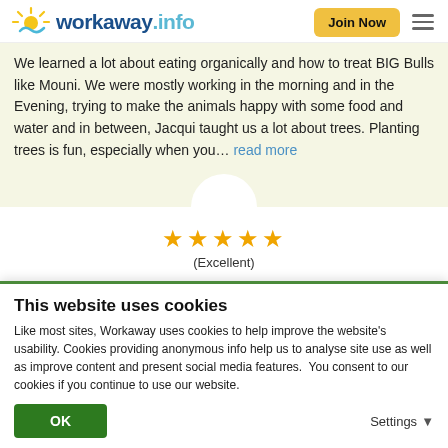[Figure (logo): Workaway.info logo with sun graphic, blue and teal text, and Join Now button and hamburger menu]
We learned a lot about eating organically and how to treat BIG Bulls like Mouni. We were mostly working in the morning and in the Evening, trying to make the animals happy with some food and water and in between, Jacqui taught us a lot about trees. Planting trees is fun, especially when you... read more
[Figure (other): Five gold star rating with (Excellent) label below]
This website uses cookies
Like most sites, Workaway uses cookies to help improve the website's usability. Cookies providing anonymous info help us to analyse site use as well as improve content and present social media features.  You consent to our cookies if you continue to use our website.
OK
Settings